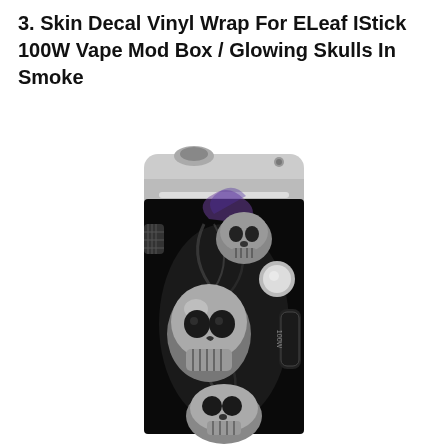3. Skin Decal Vinyl Wrap For ELeaf IStick 100W Vape Mod Box / Glowing Skulls In Smoke
[Figure (photo): Product photo of an ELeaf IStick 100W Vape Mod Box with a black skin decal featuring glowing skulls in smoke design. The device is rectangular/box-shaped with silver chrome accents at top, a fire button, and a detailed illustration of multiple chrome-style skulls with swirling smoke on a black background.]